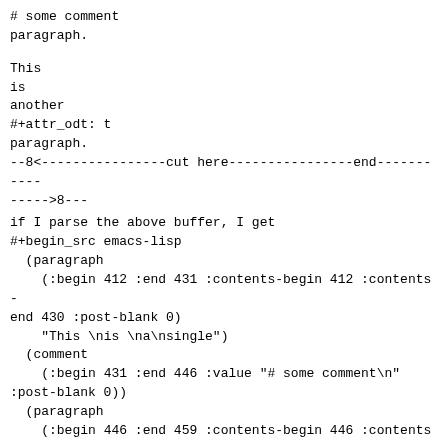# some comment
paragraph.
This
is
another
#+attr_odt: t
paragraph.
--8<----------------cut here----------------end-----------
----->8---
if I parse the above buffer, I get
#+begin_src emacs-lisp
  (paragraph
    (:begin 412 :end 431 :contents-begin 412 :contents-end 430 :post-blank 0)
    "This \nis \na\nsingle")
  (comment
    (:begin 431 :end 446 :value "# some comment\n"
:post-blank 0))
  (paragraph
    (:begin 446 :end 459 :contents-begin 446 :contents-end 456 :post-blank 2)
    "paragraph.")
  (paragraph
    (:begin 459 :end 477 :contents-begin 459 :contents-end 476 :post-blank 0)
    "This \nis \nanother")
  (